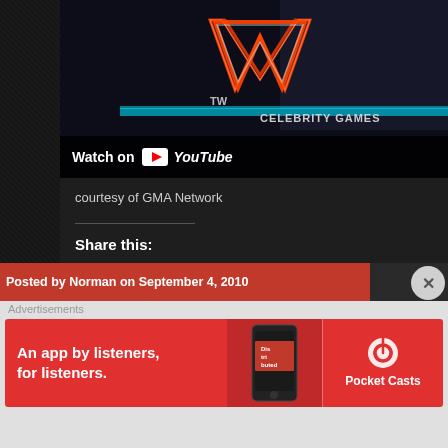[Figure (screenshot): Video thumbnail showing YouTube 'Watch on YouTube' overlay with CELEBRITY GAMES text visible on dark background with V-shaped logo]
courtesy of GMA Network
Share this:
Twitter Facebook Pinterest Tumblr Email
Loading...
Posted by Norman on September 4, 2010
Advertisements
[Figure (infographic): Pocket Casts advertisement banner: 'An app by listeners, for listeners.' with phone image showing 'Distributed' app and Pocket Casts logo]